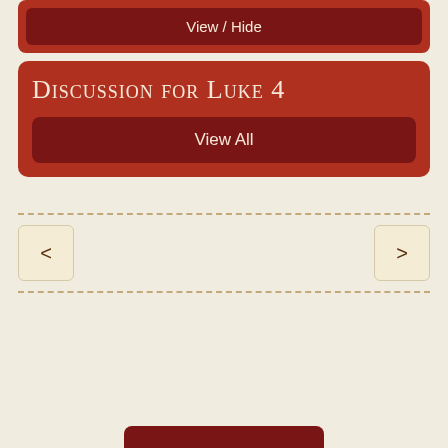[Figure (screenshot): View / Hide button partially visible at top, dark red button on red background]
Discussion for Luke 4
[Figure (screenshot): View All button, dark red rounded button]
[Figure (screenshot): Navigation row with < and > buttons on cream/beige background, separated by dashed lines]
[Figure (screenshot): Partial red button visible at bottom of page]